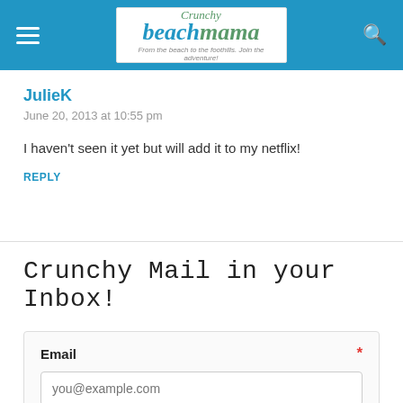Crunchy Beach Mama — From the beach to the foothills. Join the adventure!
JulieK
June 20, 2013 at 10:55 pm
I haven't seen it yet but will add it to my netflix!
REPLY
Crunchy Mail in your Inbox!
Email
you@example.com